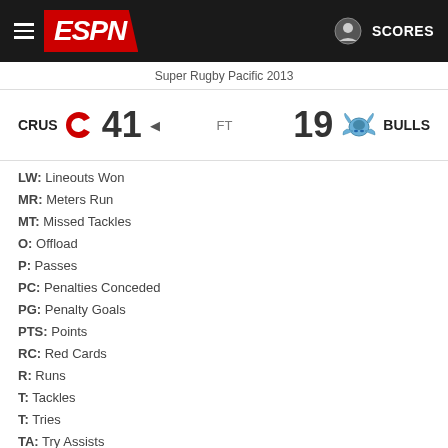ESPN — SCORES
Super Rugby Pacific 2013
CRUS 41 FT 19 BULLS
LW: Lineouts Won
MR: Meters Run
MT: Missed Tackles
O: Offload
P: Passes
PC: Penalties Conceded
PG: Penalty Goals
PTS: Points
RC: Red Cards
R: Runs
T: Tackles
T: Tries
TA: Try Assists